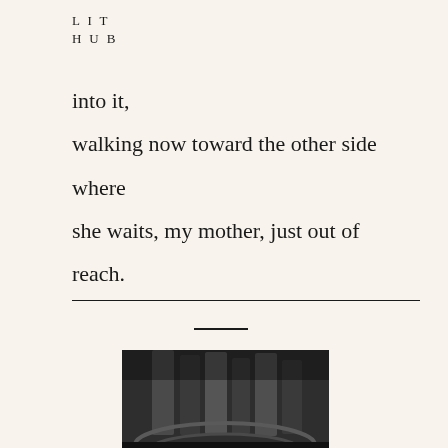L I T
H U B
into it,

walking now toward the other side

where

she waits, my mother, just out of

reach.
[Figure (photo): Black and white photograph of architectural columns/pillars viewed from above or at an angle, with 'NATASHA TRETHEWEY' text overlaid at the bottom on a dark band — appears to be a book cover]